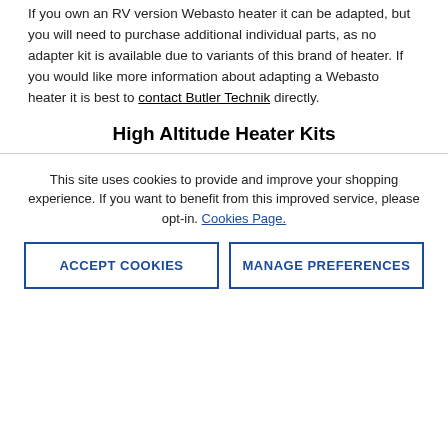If you own an RV version Webasto heater it can be adapted, but you will need to purchase additional individual parts, as no adapter kit is available due to variants of this brand of heater. If you would like more information about adapting a Webasto heater it is best to contact Butler Technik directly.
High Altitude Heater Kits
This site uses cookies to provide and improve your shopping experience. If you want to benefit from this improved service, please opt-in. Cookies Page.
ACCEPT COOKIES | MANAGE PREFERENCES